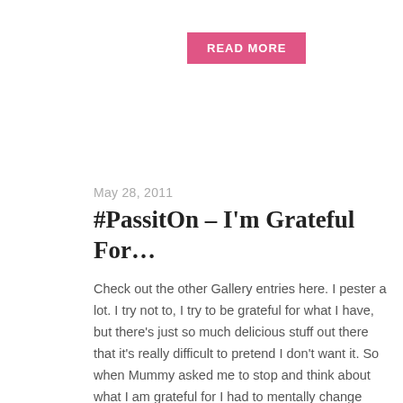[Figure (other): Pink 'READ MORE' button]
May 28, 2011
#PassitOn – I'm Grateful For…
Check out the other Gallery entries here. I pester a lot. I try not to, I try to be grateful for what I have, but there's just so much delicious stuff out there that it's really difficult to pretend I don't want it. So when Mummy asked me to stop and think about what I am grateful for I had to mentally change tack. Mummy tried to get me started by telling me what matters to her, but that was too predictable for me: me and the Bug, Daddy, health, a nice house, etc. Actually,